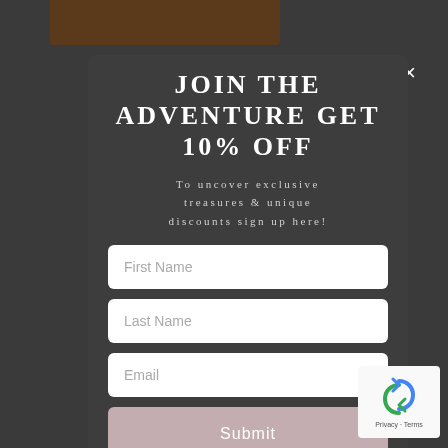JOIN THE ADVENTURE GET 10% OFF
To uncover exclusive treasures & unique discounts sign up here!
First Name
Last Name
Email
Submit